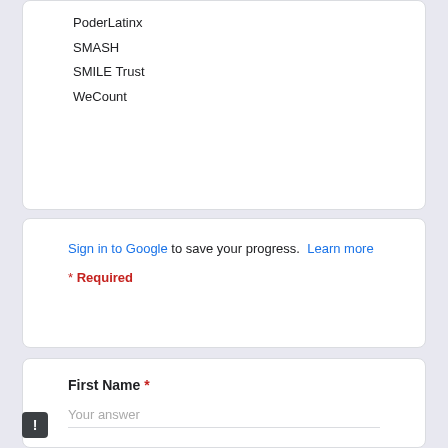PoderLatinx
SMASH
SMILE Trust
WeCount
Sign in to Google to save your progress. Learn more
* Required
First Name *
Your answer